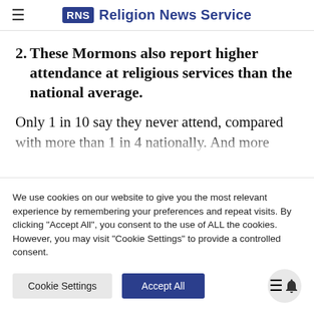Religion News Service
2. These Mormons also report higher attendance at religious services than the national average.
Only 1 in 10 say they never attend, compared with more than 1 in 4 nationally. And more
We use cookies on our website to give you the most relevant experience by remembering your preferences and repeat visits. By clicking "Accept All", you consent to the use of ALL the cookies. However, you may visit "Cookie Settings" to provide a controlled consent.